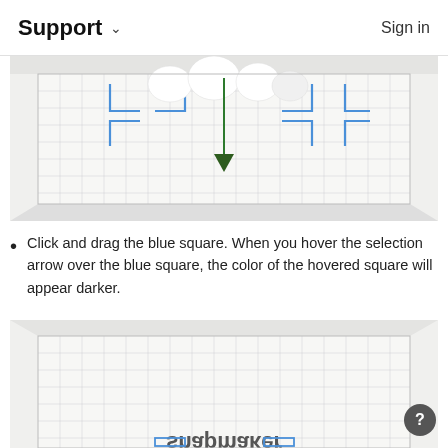Support  Sign in
[Figure (screenshot): 3D workspace view showing a 3D model on a grid with blue selection squares at corners and a green downward arrow in the center, indicating a drag operation.]
Click and drag the blue square. When you hover the selection arrow over the blue square, the color of the hovered square will appear darker.
[Figure (screenshot): 3D workspace view showing a grid surface with the Snapmaker logo inverted/mirrored at the bottom and blue selection indicators partially visible.]